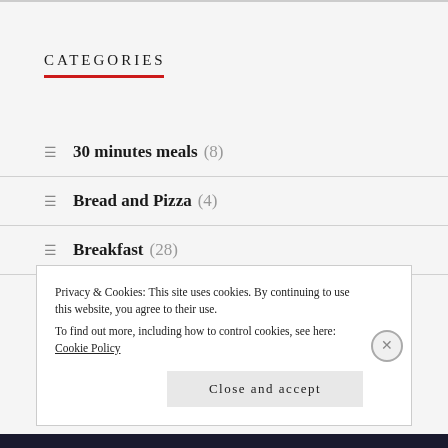CATEGORIES
30 minutes meals (8)
Bread and Pizza (4)
Breakfast (28)
Brunch (18)
Privacy & Cookies: This site uses cookies. By continuing to use this website, you agree to their use.
To find out more, including how to control cookies, see here: Cookie Policy
Close and accept